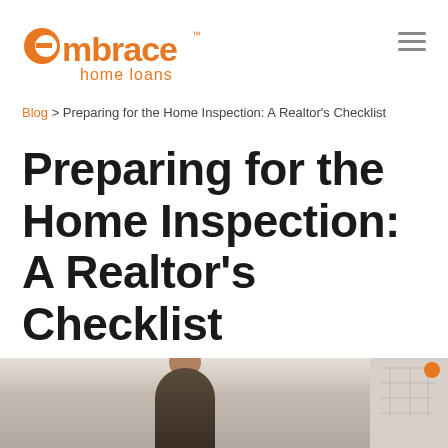[Figure (logo): Embrace Home Loans logo in orange — stylized 'embrace' wordmark with 'home loans' below]
Blog > Preparing for the Home Inspection: A Realtor's Checklist
Preparing for the Home Inspection: A Realtor's Checklist
[Figure (photo): Photo of a person (realtor or homeowner) inside a home, partially visible at the bottom of the page]